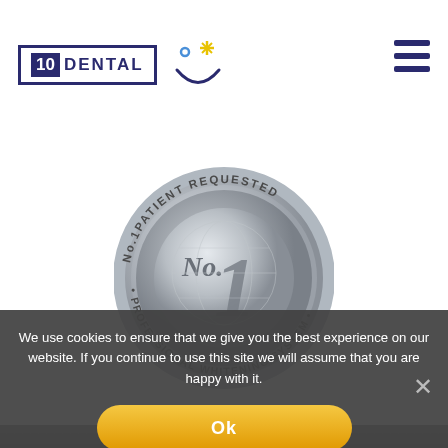[Figure (logo): 10 Dental logo with text and smile icon]
[Figure (illustration): Silver medal coin reading 'No.1 Patient Requested Professional Whitening System']
We use cookies to ensure that we give you the best experience on our website. If you continue to use this site we will assume that you are happy with it.
[Figure (other): Ok button in gold/yellow rounded rectangle]
[Figure (photo): Background photo of dental/teeth procedure partially visible behind cookie overlay]